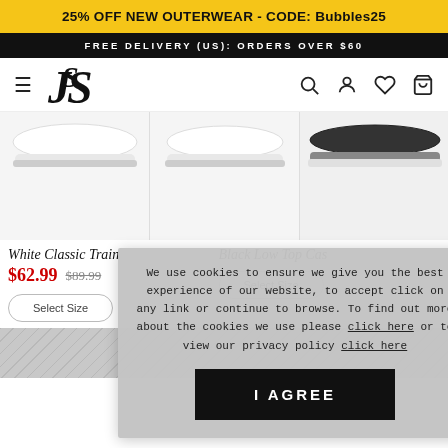25% OFF NEW OUTERWEAR - CODE: Bubbles25
FREE DELIVERY (US): ORDERS OVER $60
[Figure (logo): SikSilk stylized SS monogram logo in italic serif font]
[Figure (photo): Three sneaker product images showing bottom/sole of white and black trainers]
White Classic Train
$62.99 $89.99
Black Low Top Cas
We use cookies to ensure we give you the best experience of our website, to accept click on any link or continue to browse. To find out more about the cookies we use please click here or to view our privacy policy click here
I AGREE